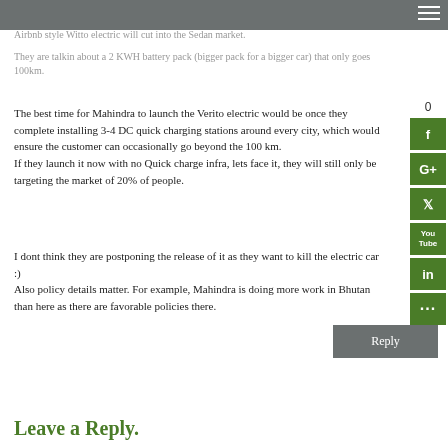Airbnb style Witto electric will cut into the Sedan market.
They are talkin about a 2 KWH battery pack (bigger pack for a bigger car) that only goes 100km.
The best time for Mahindra to launch the Verito electric would be once they complete installing 3-4 DC quick charging stations around every city, which would ensure the customer can occasionally go beyond the 100 km.
If they launch it now with no Quick charge infra, lets face it, they will still only be targeting the market of 20% of people.
I dont think they are postponing the release of it as they want to kill the electric car :)
Also policy details matter. For example, Mahindra is doing more work in Bhutan than here as there are favorable policies there.
Leave a Reply.